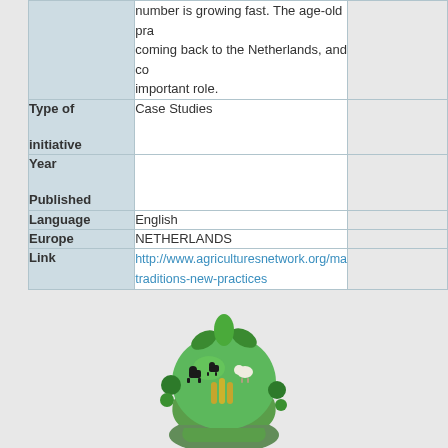| Field | Value | Extra |
| --- | --- | --- |
|  | number is growing fast. The age-old pra... coming back to the Netherlands, and co... important role. |  |
| Type of initiative | Case Studies |  |
| Year Published |  |  |
| Language | English |  |
| Europe | NETHERLANDS |  |
| Link | http://www.agriculturesnetwork.org/ma... traditions-new-practices |  |
[Figure (logo): Green agricultural logo showing a hand holding a globe with farm animals and crops, in shades of green.]